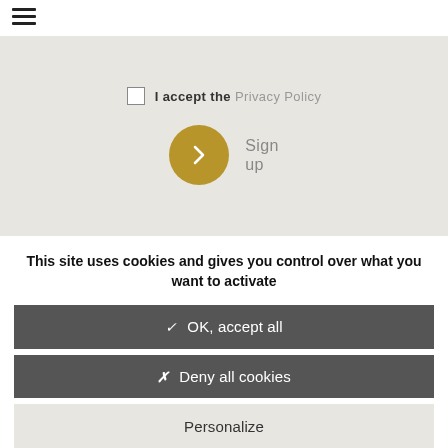[Figure (other): Hamburger menu icon (three horizontal lines) in top-left corner]
I accept the Privacy Policy
[Figure (other): Gold circular button with right-pointing chevron arrow, next to 'Sign up' label]
This site uses cookies and gives you control over what you want to activate
✓  OK, accept all
✗  Deny all cookies
Personalize